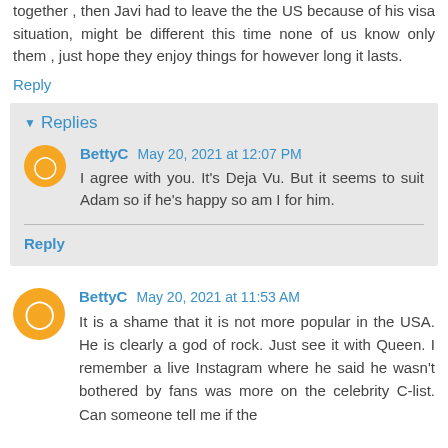together , then Javi had to leave the the US because of his visa situation, might be different this time none of us know only them , just hope they enjoy things for however long it lasts.
Reply
Replies
BettyC May 20, 2021 at 12:07 PM
I agree with you. It's Deja Vu. But it seems to suit Adam so if he's happy so am I for him.
Reply
BettyC May 20, 2021 at 11:53 AM
It is a shame that it is not more popular in the USA. He is clearly a god of rock. Just see it with Queen. I remember a live Instagram where he said he wasn't bothered by fans was more on the celebrity C-list. Can someone tell me if the Vide tell me add hardly limit the help of convention? I h...